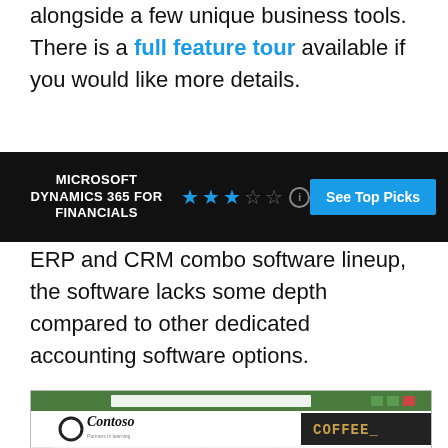alongside a few unique business tools. There is a full feature tour available if you would like more details.
MICROSOFT DYNAMICS 365 FOR FINANCIALS
ERP and CRM combo software lineup, the software lacks some depth compared to other dedicated accounting software options.
[Figure (screenshot): Screenshot of Microsoft Dynamics 365 for Financials showing the Contoso demo company dashboard with a calendar, navigation sidebar, and a grid of feature tiles including budget planning, calculator, expense management, accounts payable, business document management, cost control, financial analytics, project management, and other modules. A 'COFFEE_' branding appears in the top right.]